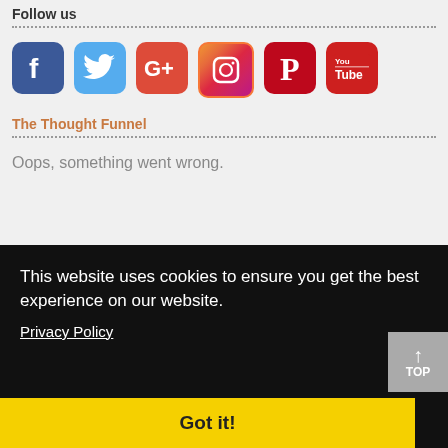Follow us
[Figure (illustration): Six social media icons: Facebook (blue), Twitter (light blue), Google+ (red-orange), Instagram (pink/purple), Pinterest (dark red), YouTube (red)]
The Thought Funnel
Oops, something went wrong.
This website uses cookies to ensure you get the best experience on our website.
Privacy Policy
Got it!